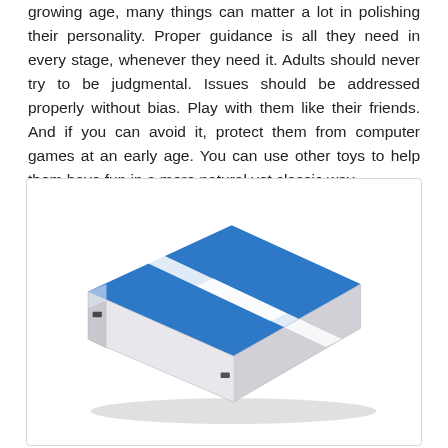growing age, many things can matter a lot in polishing their personality. Proper guidance is all they need in every stage, whenever they need it. Adults should never try to be judgmental. Issues should be addressed properly without bias. Play with them like their friends. And if you can avoid it, protect them from computer games at an early age. You can use other toys to help them have fun in a more natural yet classic way.
[Figure (photo): An inflatable gymnastics air track mat, rectangular shape with blue top surface and white sides, shown in perspective view. Two white diagonal stripes run along the length of the blue surface. Small black valve ports visible on the sides.]